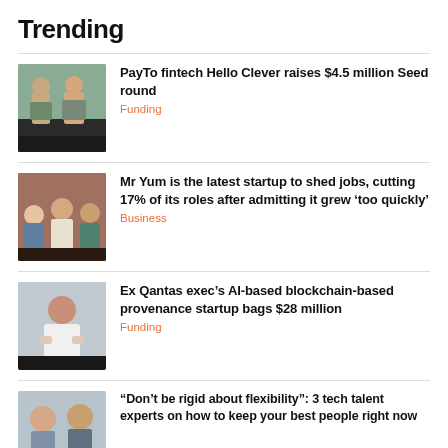Trending
PayTo fintech Hello Clever raises $4.5 million Seed round
Mr Yum is the latest startup to shed jobs, cutting 17% of its roles after admitting it grew ‘too quickly’
Ex Qantas exec’s AI-based blockchain-based provenance startup bags $28 million
“Don’t be rigid about flexibility”: 3 tech talent experts on how to keep your best people right now